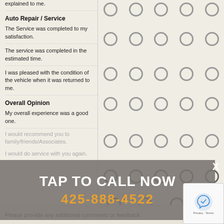explained to me.
Auto Repair / Service
The Service was completed to my satisfaction.
The service was completed in the estimated time.
I was pleased with the condition of the vehicle when it was returned to me.
Overall Opinion
My overall experience was a good one.
I would recommend you to family/friends/Associates.
I would do service with you again.
Please provide any additional comments or feedback.